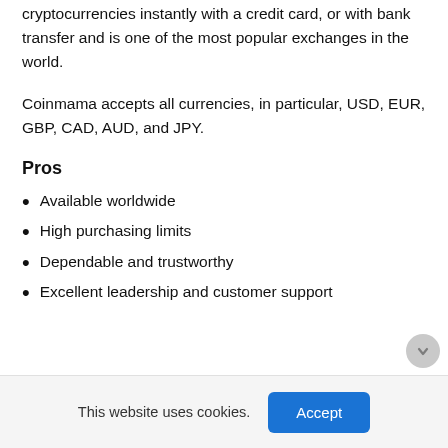Coinmama specializes in selling Bitcoin and cryptocurrencies instantly with a credit card, or with bank transfer and is one of the most popular exchanges in the world.
Coinmama accepts all currencies, in particular, USD, EUR, GBP, CAD, AUD, and JPY.
Pros
Available worldwide
High purchasing limits
Dependable and trustworthy
Excellent leadership and customer support
This website uses cookies.